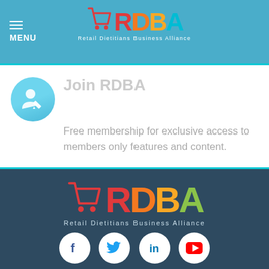MENU | RDBA - Retail Dietitians Business Alliance
Join RDBA
Free membership for exclusive access to members only features and content.
[Figure (logo): RDBA Retail Dietitians Business Alliance logo with shopping cart icon and colorful letters]
[Figure (infographic): Social media icons: Facebook, Twitter, LinkedIn, YouTube]
Join RDBA  Subscribe  Sponsors  Privacy Policy  Contact